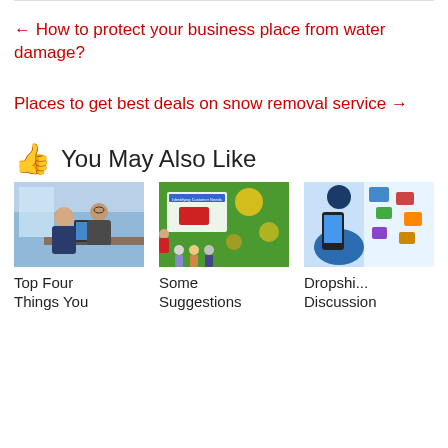← How to protect your business place from water damage?
Places to get best deals on snow removal service →
👍 You May Also Like
[Figure (photo): Two businessmen working on a laptop in an office setting]
Top Four Things You
[Figure (photo): Marketing presentation slide titled Identifying Customer Needs with a presenter and audience]
Some Suggestions
[Figure (photo): Hand holding a smartphone with various digital icons floating around]
Dropshipping Discussion